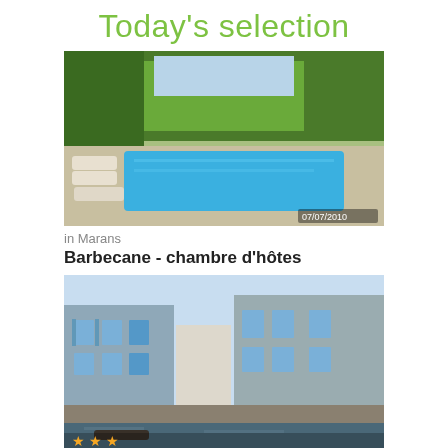Today's selection
[Figure (photo): Outdoor swimming pool with lounge chairs surrounded by trees]
in Marans
Barbecane - chambre d'hôtes
[Figure (photo): Stone buildings along a canal waterfront in Coulon, with 3 star rating overlay]
in Coulon
Hôtel au Marais
[Figure (photo): Partial view of a third hotel/property listing cut off at bottom]